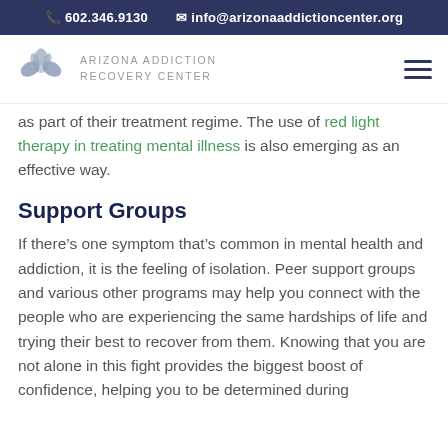602.346.9130   info@arizonaaddictioncenter.org
[Figure (logo): Arizona Addiction Recovery Center logo with lotus/hands icon and text]
as part of their treatment regime. The use of red light therapy in treating mental illness is also emerging as an effective way.
Support Groups
If there’s one symptom that’s common in mental health and addiction, it is the feeling of isolation. Peer support groups and various other programs may help you connect with the people who are experiencing the same hardships of life and trying their best to recover from them. Knowing that you are not alone in this fight provides the biggest boost of confidence, helping you to be determined during